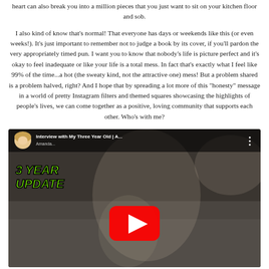heart can also break you into a million pieces that you just want to sit on your kitchen floor and sob.
I also kind of know that's normal! That everyone has days or weekends like this (or even weeks!). It's just important to remember not to judge a book by its cover, if you'll pardon the very appropriately timed pun. I want you to know that nobody's life is picture perfect and it's okay to feel inadequate or like your life is a total mess. In fact that's exactly what I feel like 99% of the time...a hot (the sweaty kind, not the attractive one) mess! But a problem shared is a problem halved, right? And I hope that by spreading a lot more of this "honesty" message in a world of pretty Instagram filters and themed squares showcasing the highlights of people's lives, we can come together as a positive, loving community that supports each other. Who's with me?
[Figure (screenshot): YouTube video thumbnail showing a woman with a child. Video title: 'Interview with My Three Year Old | A...' with '3 YEAR UPDATE' text overlay in green. YouTube play button visible in center.]